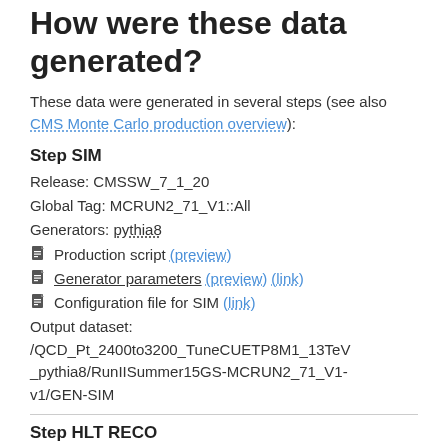How were these data generated?
These data were generated in several steps (see also CMS Monte Carlo production overview):
Step SIM
Release: CMSSW_7_1_20
Global Tag: MCRUN2_71_V1::All
Generators: pythia8
Production script (preview)
Generator parameters (preview) (link)
Configuration file for SIM (link)
Output dataset: /QCD_Pt_2400to3200_TuneCUETP8M1_13TeV_pythia8/RunIISummer15GS-MCRUN2_71_V1-v1/GEN-SIM
Step HLT RECO